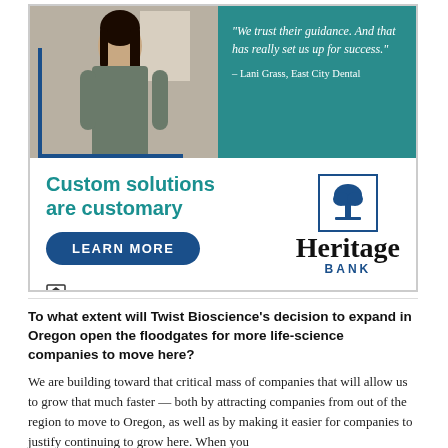[Figure (other): Heritage Bank advertisement featuring a professional woman, a teal quote panel with the quote 'We trust their guidance. And that has really set us up for success.' attributed to Lani Grass, East City Dental. Lower section shows 'Custom solutions are customary' tagline, LEARN MORE button, Heritage Bank logo with tree icon, and Equal Housing Lender | Member FDIC disclaimer.]
To what extent will Twist Bioscience's decision to expand in Oregon open the floodgates for more life-science companies to move here?
We are building toward that critical mass of companies that will allow us to grow that much faster — both by attracting companies from out of the region to move to Oregon, as well as by making it easier for companies to justify continuing to grow here. When you